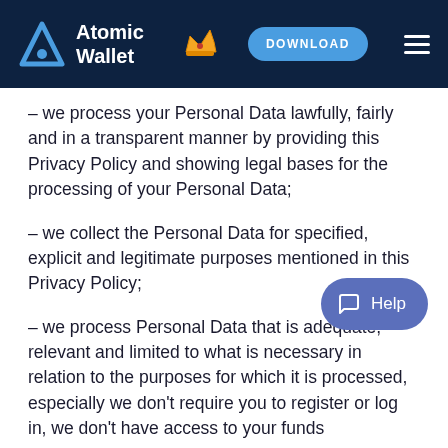Atomic Wallet — DOWNLOAD
– we process your Personal Data lawfully, fairly and in a transparent manner by providing this Privacy Policy and showing legal bases for the processing of your Personal Data;
– we collect the Personal Data for specified, explicit and legitimate purposes mentioned in this Privacy Policy;
– we process Personal Data that is adequate, relevant and limited to what is necessary in relation to the purposes for which it is processed, especially we don't require you to register or log in, we don't have access to your funds